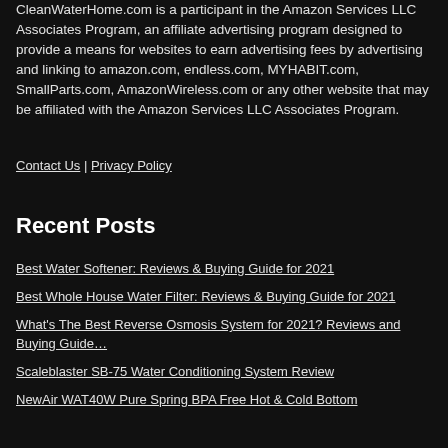CleanWaterHome.com is a participant in the Amazon Services LLC Associates Program, an affiliate advertising program designed to provide a means for websites to earn advertising fees by advertising and linking to amazon.com, endless.com, MYHABIT.com, SmallParts.com, AmazonWireless.com or any other website that may be affiliated with the Amazon Services LLC Associates Program.
Contact Us | Privacy Policy
Recent Posts
Best Water Softener: Reviews & Buying Guide for 2021
Best Whole House Water Filter: Reviews & Buying Guide for 2021
What's The Best Reverse Osmosis System for 2021? Reviews and Buying Guide…
Scaleblaster SB-75 Water Conditioning System Review
NewAir WAT40W Pure Spring BPA Free Hot & Cold Bottom